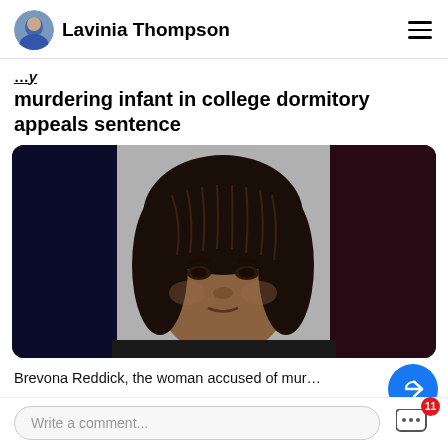Lavinia Thompson
...woman admitted to child accused of murdering infant in college dormitory appeals sentence
[Figure (photo): Mugshot photo of Brevona Reddick, a young Black woman with long braided/dreadlocked hair, wearing a dark top, against a gray background. Dark blue panels on left and dark maroon panel on right.]
Brevona Reddick, the woman accused of mur...